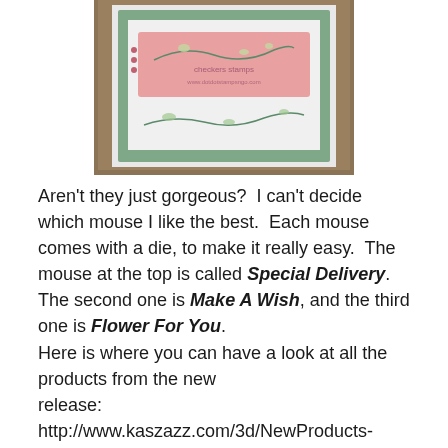[Figure (photo): A handmade greeting card with floral design featuring a pink and green color scheme with decorative stamping, photographed on a wooden surface.]
Aren't they just gorgeous?  I can't decide which mouse I like the best.  Each mouse comes with a die, to make it really easy.  The mouse at the top is called Special Delivery.  The second one is Make A Wish, and the third one is Flower For You.
Here is where you can have a look at all the products from the new release:  http://www.kaszazz.com/3d/NewProducts-Jan2018/index.html
If you live in Australia, and would like any of these products, feel free to leave me a message and we can